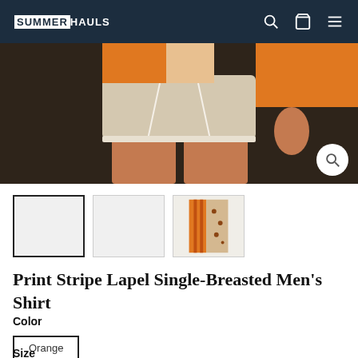SUMMERHAULS
[Figure (photo): Close-up photo of a person wearing beige drawstring shorts and a floral/striped orange shirt, cropped at waist level, dark background]
[Figure (photo): Three product thumbnail images: first selected (white/blank), second (light gray/blank), third showing orange striped shirt]
Print Stripe Lapel Single-Breasted Men's Shirt
Color
Orange
Size